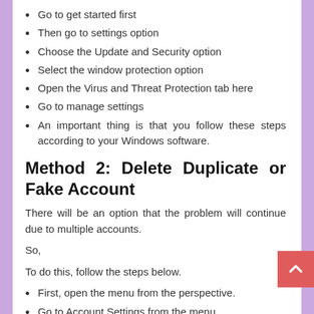Go to get started first
Then go to settings option
Choose the Update and Security option
Select the window protection option
Open the Virus and Threat Protection tab here
Go to manage settings
An important thing is that you follow these steps according to your Windows software.
Method 2: Delete Duplicate or Fake Account
There will be an option that the problem will continue due to multiple accounts.
So,
To do this, follow the steps below.
First, open the menu from the perspective.
Go to Account Settings from the menu.
To access, click on the mailing option.